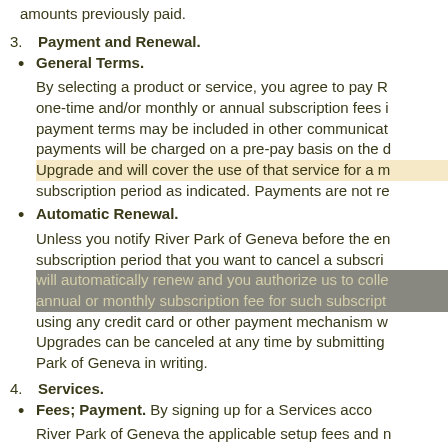amounts previously paid.
3. Payment and Renewal.
General Terms.
By selecting a product or service, you agree to pay R one-time and/or monthly or annual subscription fees i payment terms may be included in other communicat payments will be charged on a pre-pay basis on the d Upgrade and will cover the use of that service for a m subscription period as indicated. Payments are not re
Automatic Renewal.
Unless you notify River Park of Geneva before the en subscription period that you want to cancel a subscri will automatically renew and you authorize us to colle annual or monthly subscription fee for such subscript using any credit card or other payment mechanism w Upgrades can be canceled at any time by submitting Park of Geneva in writing.
4. Services.
Fees; Payment.
By signing up for a Services acco River Park of Geneva the applicable setup fees and n fees will be invoiced starting from the day your servi